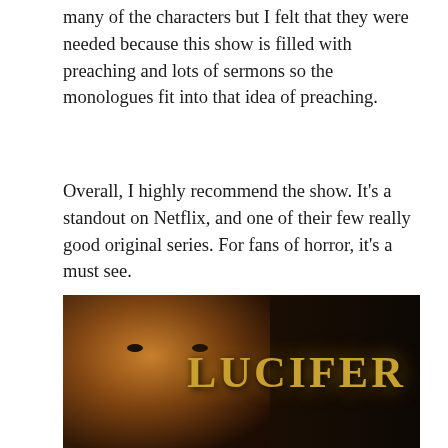many of the characters but I felt that they were needed because this show is filled with preaching and lots of sermons so the monologues fit into that idea of preaching.
Overall, I highly recommend the show. It's a standout on Netflix, and one of their few really good original series. For fans of horror, it's a must see.
Tagged horror, Midnight Mass, Netflix, Rahul Kohli, Review, TV, Zach Gilford
Leave a comment
[Figure (photo): Promotional image for the TV show Lucifer, showing a man's face in warm golden-brown tones on the left side, with the word LUCIFER in large gold stylized text on the right against a dark background.]